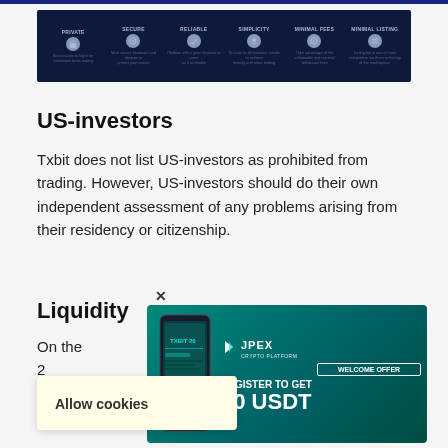[Figure (screenshot): Dark navy navigation bar with 6 icon+label columns: PRIVATE, SECURE, RELIABLE, SIMPLICITY, MINIMAL FEES, MINIMAL LISTING]
US-investors
Txbit does not list US-investors as prohibited from trading. However, US-investors should do their own independent assessment of any problems arising from their residency or citizenship.
Liquidity
On the  December  at the 2  In c  the value two years ago (on 4
[Figure (screenshot): JPEX Crypto Platform advertisement: Welcome Offer - Register to get 30 USDT, with phone mockup showing trading app]
Allow cookies